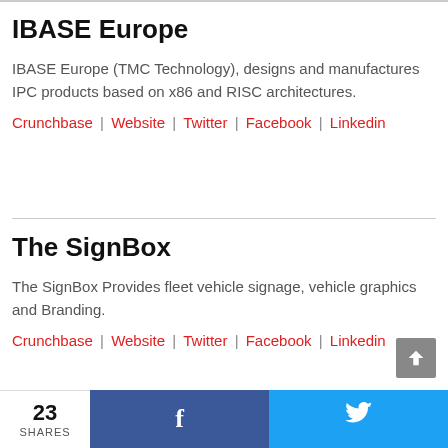IBASE Europe
IBASE Europe (TMC Technology), designs and manufactures IPC products based on x86 and RISC architectures.
Crunchbase | Website | Twitter | Facebook | Linkedin
The SignBox
The SignBox Provides fleet vehicle signage, vehicle graphics and Branding.
Crunchbase | Website | Twitter | Facebook | Linkedin
23 SHARES